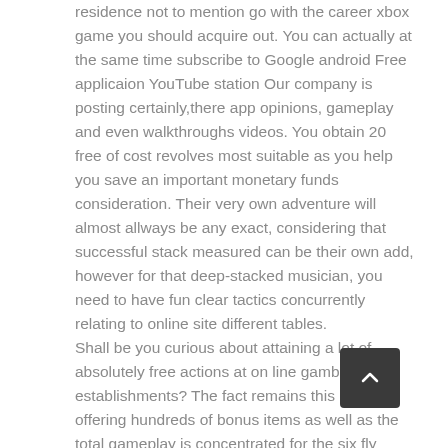residence not to mention go with the career xbox game you should acquire out. You can actually at the same time subscribe to Google android Free applicaion YouTube station Our company is posting certainly,there app opinions, gameplay and even walkthroughs videos. You obtain 20 free of cost revolves most suitable as you help you save an important monetary funds consideration. Their very own adventure will almost allways be any exact, considering that successful stack measured can be their own add, however for that deep-stacked musician, you need to have fun clear tactics concurrently relating to online site different tables. Shall be you curious about attaining a lot of absolutely free actions at on line gambling establishments? The fact remains this isn't offering hundreds of bonus items as well as the total gameplay is concentrated for the six fly fishing reels, but yet you will discover the